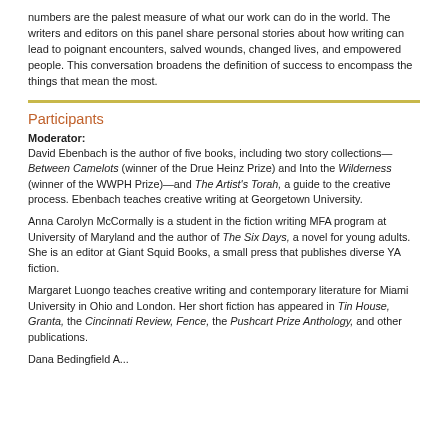numbers are the palest measure of what our work can do in the world. The writers and editors on this panel share personal stories about how writing can lead to poignant encounters, salved wounds, changed lives, and empowered people. This conversation broadens the definition of success to encompass the things that mean the most.
Participants
Moderator:
David Ebenbach is the author of five books, including two story collections—Between Camelots (winner of the Drue Heinz Prize) and Into the Wilderness (winner of the WWPH Prize)—and The Artist's Torah, a guide to the creative process. Ebenbach teaches creative writing at Georgetown University.
Anna Carolyn McCormally is a student in the fiction writing MFA program at University of Maryland and the author of The Six Days, a novel for young adults. She is an editor at Giant Squid Books, a small press that publishes diverse YA fiction.
Margaret Luongo teaches creative writing and contemporary literature for Miami University in Ohio and London. Her short fiction has appeared in Tin House, Granta, the Cincinnati Review, Fence, the Pushcart Prize Anthology, and other publications.
Dana Bedingfield A...